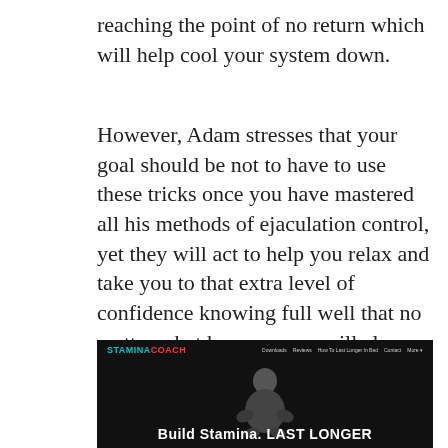reaching the point of no return which will help cool your system down.
However, Adam stresses that your goal should be not to have to use these tricks once you have mastered all his methods of ejaculation control, yet they will act to help you relax and take you to that extra level of confidence knowing full well that no matter what happens you will always be prepared and have the ability to remain in control.
[Figure (screenshot): Screenshot of StaminaCoach website showing a muscular man in a dark background with the text 'Build Stamina. LAST LONGER' at the bottom and navigation links at the top.]